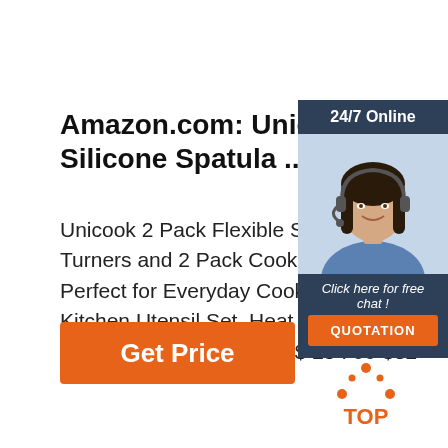Amazon.com: Unicook 2 Pack Silicone Spatula ...
Unicook 2 Pack Flexible Silicone Spatula Turners and 2 Pack Cooking Tongs Bundle, Perfect for Everyday Cooking Tasks, Silicone Kitchen Utensil Set, Heat Resistant to Dishwasher Safe $25.99 $ 25 . 99 $32
[Figure (infographic): Orange 'Get Price' button]
[Figure (infographic): Right sidebar ad with '24/7 Online' header, woman with headset photo, 'Click here for free chat!' text, and orange QUOTATION button]
[Figure (logo): TOP logo with orange dot triangle above the word TOP]